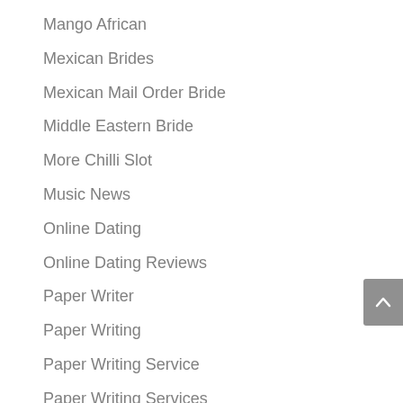Mango African
Mexican Brides
Mexican Mail Order Bride
Middle Eastern Bride
More Chilli Slot
Music News
Online Dating
Online Dating Reviews
Paper Writer
Paper Writing
Paper Writing Service
Paper Writing Services
Pay For Someone To Write Essay